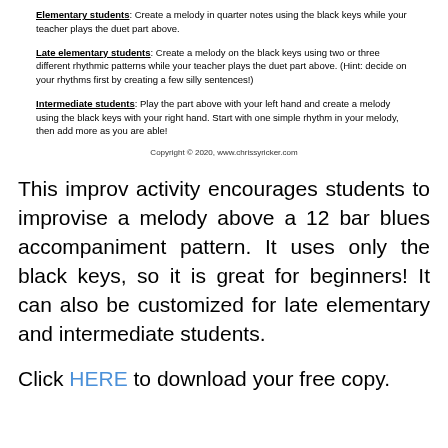Elementary students: Create a melody in quarter notes using the black keys while your teacher plays the duet part above.
Late elementary students: Create a melody on the black keys using two or three different rhythmic patterns while your teacher plays the duet part above. (Hint: decide on your rhythms first by creating a few silly sentences!)
Intermediate students: Play the part above with your left hand and create a melody using the black keys with your right hand. Start with one simple rhythm in your melody, then add more as you are able!
Copyright © 2020, www.chrissyricker.com
This improv activity encourages students to improvise a melody above a 12 bar blues accompaniment pattern. It uses only the black keys, so it is great for beginners! It can also be customized for late elementary and intermediate students.
Click HERE to download your free copy.